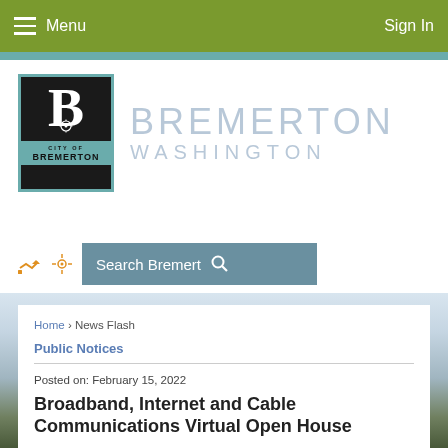Menu | Sign In
[Figure (logo): City of Bremerton Washington logo with stylized B and gear, teal border, alongside text BREMERTON WASHINGTON]
[Figure (other): Search Bremerton search bar with share and settings icons]
Home › News Flash
Public Notices
Posted on: February 15, 2022
Broadband, Internet and Cable Communications Virtual Open House
Join us for a Virtual Open House!